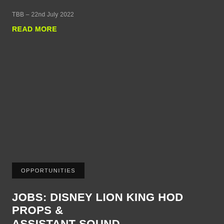TBB - 22nd July 2022
READ MORE
OPPORTUNITIES
JOBS: DISNEY LION KING HOD PROPS & ASSISTANT SOUND